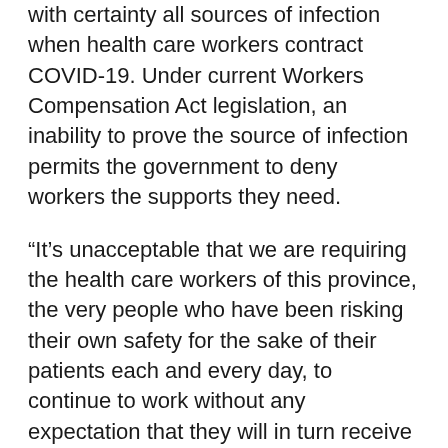with certainty all sources of infection when health care workers contract COVID-19. Under current Workers Compensation Act legislation, an inability to prove the source of infection permits the government to deny workers the supports they need.
“It’s unacceptable that we are requiring the health care workers of this province, the very people who have been risking their own safety for the sake of their patients each and every day, to continue to work without any expectation that they will in turn receive the care they need if they contract the virus,” says Azocar. “This must be a wake up call to our government that their inaction is putting not only our health care workers, but their families and patients in danger.”
In addition to our call for expedited vaccinations for front-line health care workers, and paid sick leave for